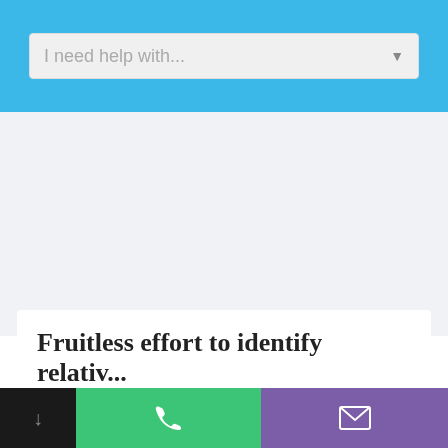[Figure (screenshot): Blue header bar with a light gray dropdown search input reading 'I need help with...' and a dropdown arrow on the right]
I need help with...
Fruitless effort to identify relativ...
Intestacy
[Figure (screenshot): Bottom navigation bar with three sections: dark/black left section with a down arrow, green center section with a phone icon, and purple right section with an envelope/mail icon]